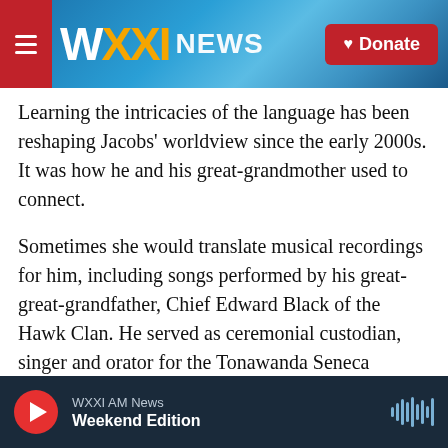WXXI NEWS | Donate
Learning the intricacies of the language has been reshaping Jacobs’ worldview since the early 2000s. It was how he and his great-grandmother used to connect.
Sometimes she would translate musical recordings for him, including songs performed by his great-great-grandfather, Chief Edward Black of the Hawk Clan. He served as ceremonial custodian, singer and orator for the Tonawanda Seneca community for many years, Jacobs said.
But there are at least two generations in his family
WXXI AM News | Weekend Edition